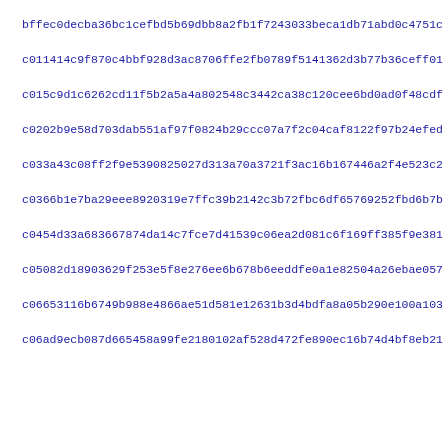bffec0decba36bc1cefbd5b69dbb8a2fb1f7243033beca1db71abd0c4751c
c011414c9f870c4bbf928d3ac8706ffe2fb0789f5141362d3b77b36ceff01
c015c9d1c6262cd11f5b2a5a4a802548c3442ca38c120cee6bd0ad0f48cdf
c0202b9e58d703dab551af97f0824b29ccc07a7f2c04caf8122f97b24efed
c033a43c08ff2f9e5390825027d313a70a3721f3ac16b167446a2f4e523c2
c0366b1e7ba29eee8920319e7ffc39b2142c3b72fbc6df65769252fbd6b7b
c0454d33a683667874da14c7fce7d41539c06ea2d081c6f169ff385f9e381
c05082d18903629f253e5f8e276ee6b678b6eeddfe0a1e82504a26ebae057
c06653116b6749b988e4866ae51d581e12631b3d4bdfa8a05b290e100a103
c06ad9ecb087d665458a99fe2180102af528d472fe890ec16b74d4bf8eb21